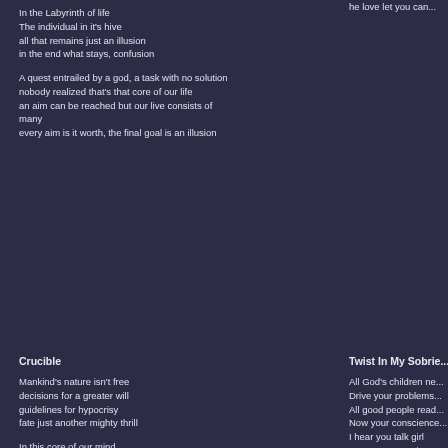In the Labyrinth of life
The individual in it's hive
all that remains just an illusion
in the end what stays, confusion

A quest entrailed by a god, a task with no solution
nobody realized that's that core of our life
an aim can be reached but our live consists of many
every aim is it worth, the final goal is an illusion
Crucible
Mankind's nature isn't free
decisions for a greater will
guidelines for hypocrisy
fate just another mighty thrill

In this core of our mind
Twist In My Sobrie...
All God's children ne...
Drive your problems...
All good people read...
Now your conscience...
I hear you talk girl
Now your conscience...